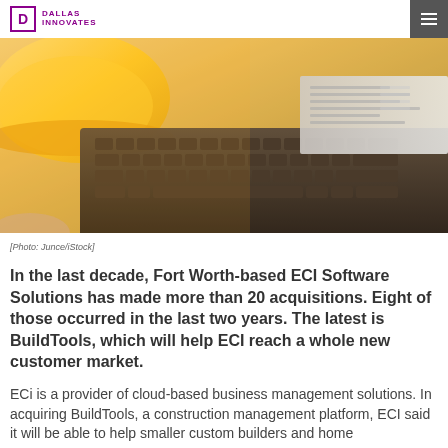DALLAS INNOVATES
[Figure (photo): Close-up of a laptop keyboard with a yellow hard hat/construction helmet in the background upper left, and what appears to be a spreadsheet or document on the laptop screen. Warm orange/yellow lighting.]
[Photo: Junce/iStock]
In the last decade, Fort Worth-based ECI Software Solutions has made more than 20 acquisitions. Eight of those occurred in the last two years. The latest is BuildTools, which will help ECI reach a whole new customer market.
ECi is a provider of cloud-based business management solutions. In acquiring BuildTools, a construction management platform, ECI said it will be able to help smaller custom builders and home